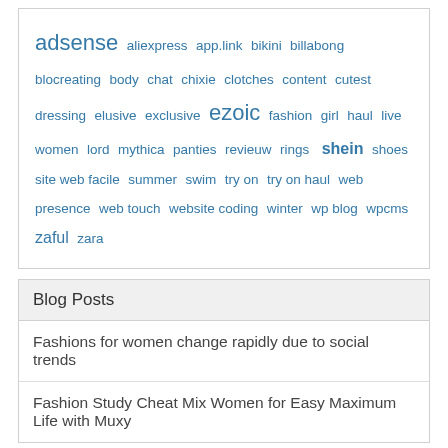adsense aliexpress app.link bikini billabong blocreating body chat chixie clotches content cutest dressing elusive exclusive ezoic fashion girl haul live women lord mythica panties revieuw rings shein shoes site web facile summer swim try on try on haul web presence web touch website coding winter wp blog wpcms zaful zara
Blog Posts
Fashions for women change rapidly due to social trends
Fashion Study Cheat Mix Women for Easy Maximum Life with Muxy
Links Yourself
Fun Movies
Face CX